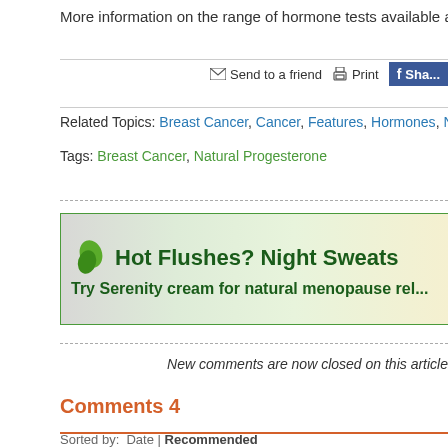More information on the range of hormone tests available at www.zrtl...
Send to a friend | Print | Share
Related Topics: Breast Cancer, Cancer, Features, Hormones, Natural Progestone...
Tags: Breast Cancer, Natural Progesterone
[Figure (illustration): Advertisement banner for Hot Flushes Night Sweats - Try Serenity cream for natural menopause relief, with green leaf logo and teal border]
New comments are now closed on this article
Comments 4
Sorted by: Date | Recommended